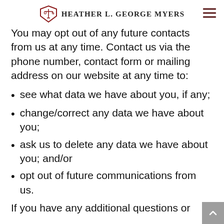Heather L. George Myers
You may opt out of any future contacts from us at any time. Contact us via the phone number, contact form or mailing address on our website at any time to:
see what data we have about you, if any;
change/correct any data we have about you;
ask us to delete any data we have about you; and/or
opt out of future communications from us.
If you have any additional questions or